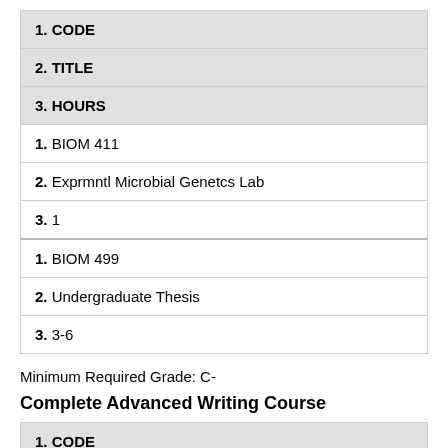| 1. CODE | 2. TITLE | 3. HOURS |
| --- | --- | --- |
| 1. BIOM 411 | 2. Exprmntl Microbial Genetcs Lab | 3. 1 |
| 1. BIOM 499 | 2. Undergraduate Thesis | 3. 3-6 |
Minimum Required Grade: C-
Complete Advanced Writing Course
| 1. CODE |
| --- |